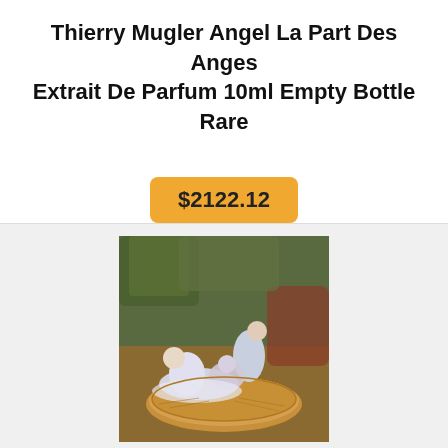Thierry Mugler Angel La Part Des Anges Extrait De Parfum 10ml Empty Bottle Rare
$2122.12
[Figure (photo): Photograph of porcelain figurines depicting two human figures and an animal on a circular wooden base, set against a background of greenery and decorative objects.]